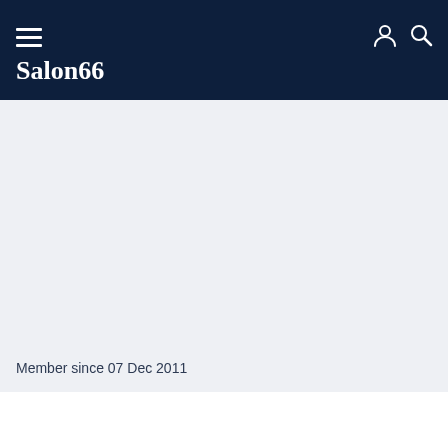Salon66
Member since 07 Dec 2011